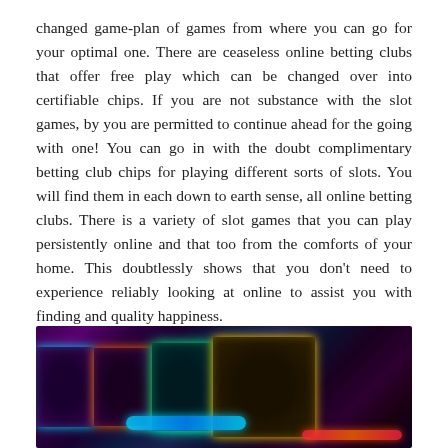changed game-plan of games from where you can go for your optimal one. There are ceaseless online betting clubs that offer free play which can be changed over into certifiable chips. If you are not substance with the slot games, by you are permitted to continue ahead for the going with one! You can go in with the doubt complimentary betting club chips for playing different sorts of slots. You will find them in each down to earth sense, all online betting clubs. There is a variety of slot games that you can play persistently online and that too from the comforts of your home. This doubtlessly shows that you don't need to experience reliably looking at online to assist you with finding and quality happiness.
[Figure (photo): Photo of casino slot machines with colorful neon lighting showing multiple slot machine panels with blue, orange, green, and yellow neon borders in a dark casino environment.]